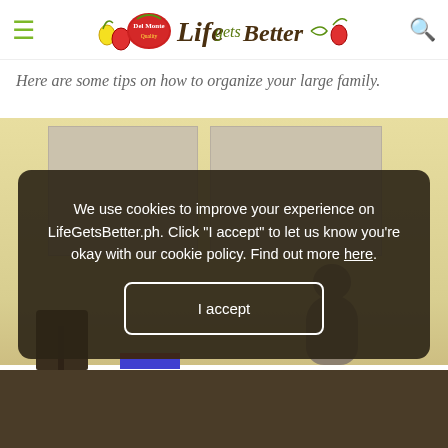Del Monte Life Gets Better – navigation bar with hamburger menu and search icon
Here are some tips on how to organize your large family.
[Figure (photo): A children's room with a yellow wall, two beige/taupe panels hanging on the wall, a lamp with a dark patterned shade on a dresser, a stuffed teddy bear, books, and toys on the dresser. A cookie consent overlay dialog is displayed over the image.]
We use cookies to improve your experience on LifeGetsBetter.ph. Click "I accept" to let us know you're okay with our cookie policy. Find out more here.